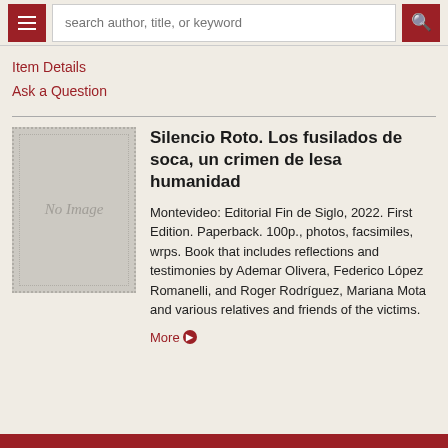search author, title, or keyword
Item Details
Ask a Question
[Figure (illustration): Book cover placeholder showing 'No Image' text in gray box with dotted border]
Silencio Roto. Los fusilados de soca, un crimen de lesa humanidad
Montevideo: Editorial Fin de Siglo, 2022. First Edition. Paperback. 100p., photos, facsimiles, wrps. Book that includes reflections and testimonies by Ademar Olivera, Federico López Romanelli, and Roger Rodríguez, Mariana Mota and various relatives and friends of the victims.
More